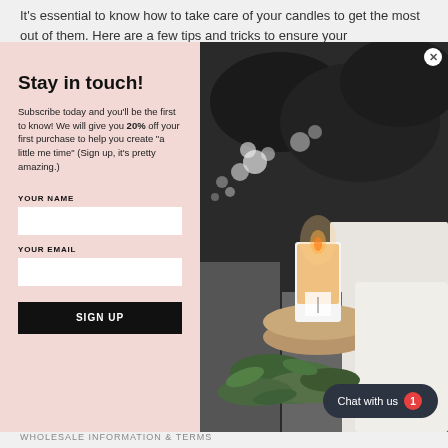It's essential to know how to take care of your candles to get the most out of them. Here are a few tips and tricks to ensure your
Stay in touch!
Subscribe today and you'll be the first to know! We will give you 20% off your first purchase to help you create "a little me time" (Sign up, it's pretty amazing.)
YOUR NAME
YOUR EMAIL
SIGN UP
[Figure (photo): Photo of a lit candle in a glass jar on a wooden tray, surrounded by green plants, against a dark floral wallpaper background]
Chat with us
ABOUT
WHOLESALE INFORMATION & TERMS